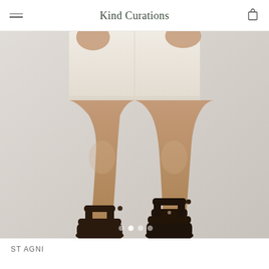Kind Curations
[Figure (photo): Close-up photo of a person's lower body wearing cream/beige shorts and dark leather strappy sandals, standing against a light gray background. The image shows legs from mid-thigh down with black sandals visible at the bottom.]
ST AGNI